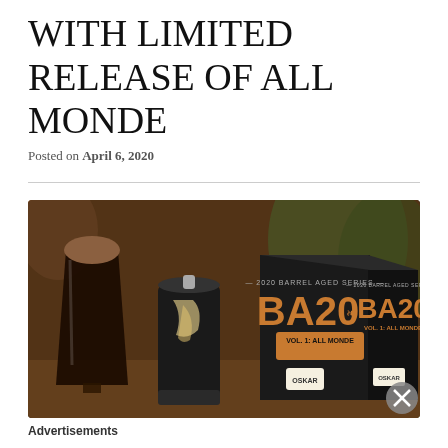WITH LIMITED RELEASE OF ALL MONDE
Posted on April 6, 2020
[Figure (photo): Photo of a dark stout beer poured in a glass, next to a decorated beer can and two BA20 Vol. 1: All Monde 2020 Barrel Aged Series boxes from Oskar Blues brewery, set against a background with plants.]
Advertisements